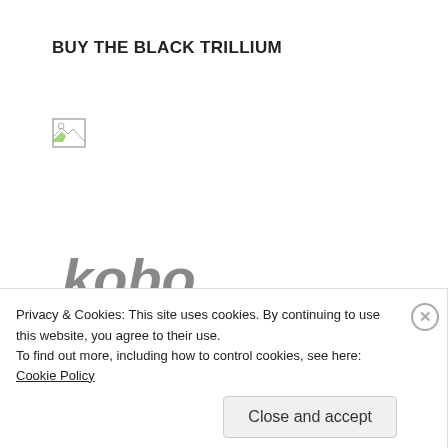BUY THE BLACK TRILLIUM
[Figure (illustration): Broken/missing image placeholder icon (small, top-left area)]
[Figure (logo): Kobo logo — grey italic 'kobo' text with teal curved underline and two magenta/purple squares]
[Figure (logo): Nook by Barnes & Noble logo — colorful 'nook' text in green/teal/yellow with 'by Barnes & Noble' subtitle, in a bordered rectangle]
Privacy & Cookies: This site uses cookies. By continuing to use this website, you agree to their use.
To find out more, including how to control cookies, see here: Cookie Policy
Close and accept